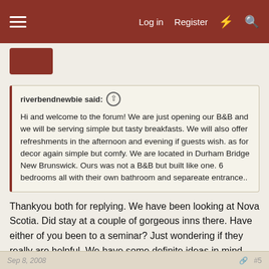Log in  Register
riverbendnewbie said: Hi and welcome to the forum! We are just opening our B&B and we will be serving simple but tasty breakfasts. We will also offer refreshments in the afternoon and evening if guests wish. as for decor again simple but comfy. We are located in Durham Bridge New Brunswick. Ours was not a B&B but built like one. 6 bedrooms all with their own bathroom and separeate entrance..
Thankyou both for replying. We have been looking at Nova Scotia. Did stay at a couple of gorgeous inns there. Have either of you been to a seminar? Just wondering if they really are helpful. We have some definite ideas in mind and look forward to reading through the forum. So nice to have replies.
Sep 8, 2008